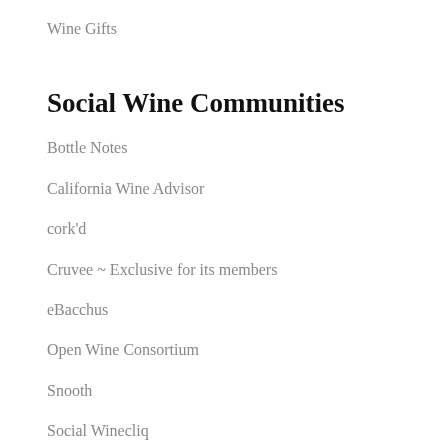Wine Gifts
Social Wine Communities
Bottle Notes
California Wine Advisor
cork'd
Cruvee ~ Exclusive for its members
eBacchus
Open Wine Consortium
Snooth
Social Winecliq
Taste and Share
Vinfolio
Vivi Vino